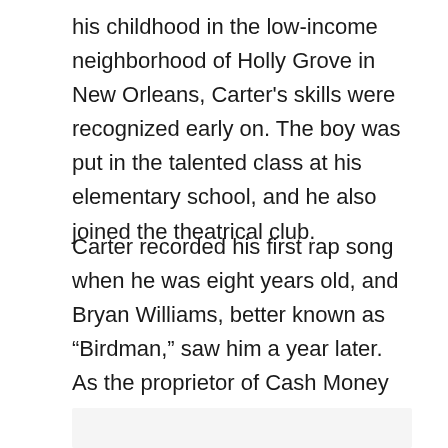his childhood in the low-income neighborhood of Holly Grove in New Orleans, Carter's skills were recognized early on. The boy was put in the talented class at his elementary school, and he also joined the theatrical club.
Carter recorded his first rap song when he was eight years old, and Bryan Williams, better known as “Birdman,” saw him a year later. As the proprietor of Cash Money Records, Lil Wayne’s first chance at success was with Williams.